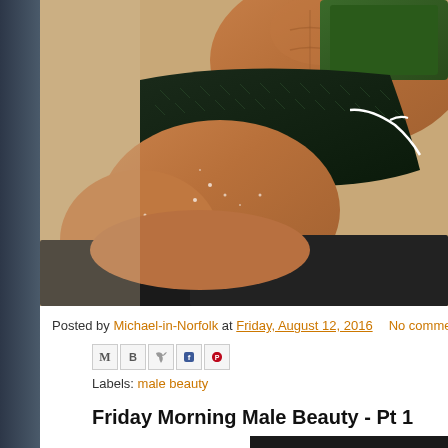[Figure (photo): Close-up photo of a person's torso and legs in dark mesh swimwear, lying down with skin glistening]
Posted by Michael-in-Norfolk at Friday, August 12, 2016   No comments:
[Figure (infographic): Blog share/action icons: email (M), blog (B), twitter bird, facebook (f), pinterest (P)]
Labels: male beauty
Friday Morning Male Beauty - Pt 1
[Figure (photo): Bottom edge of next blog post photo, dark background visible]